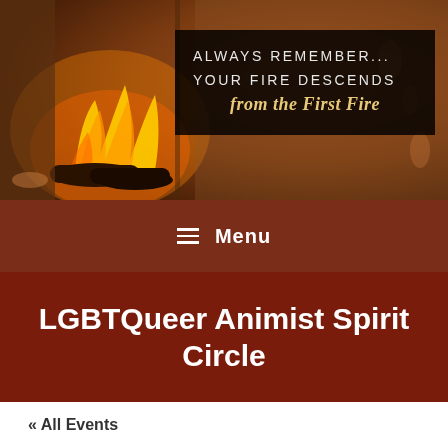[Figure (photo): Header banner with a fireplace/campfire image on the left and black text box on the right reading 'ALWAYS REMEMBER... YOUR FIRE DESCENDS from the First Fire']
≡ Menu
LGBTQueer Animist Spirit Circle
« All Events